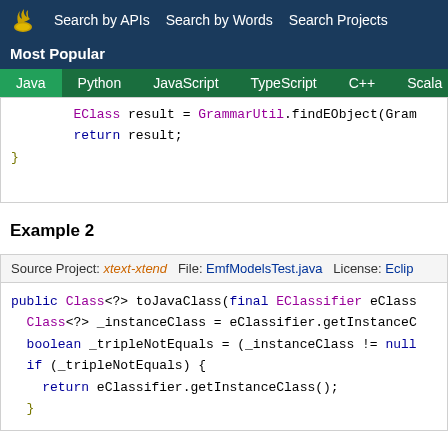Search by APIs  Search by Words  Search Projects
Most Popular
Java  Python  JavaScript  TypeScript  C++  Scala
[Figure (screenshot): Java code snippet showing EClass result = GrammarUtil.findEObject(Gram... return result; }]
Example 2
Source Project: xtext-xtend  File: EmfModelsTest.java  License: Eclip...
[Figure (screenshot): Java code snippet: public Class<?> toJavaClass(final EClassifier eClass... Class<?> _instanceClass = eClassifier.getInstanceC... boolean _tripleNotEquals = (_instanceClass != null... if (_tripleNotEquals) { return eClassifier.getInstanceClass(); }]